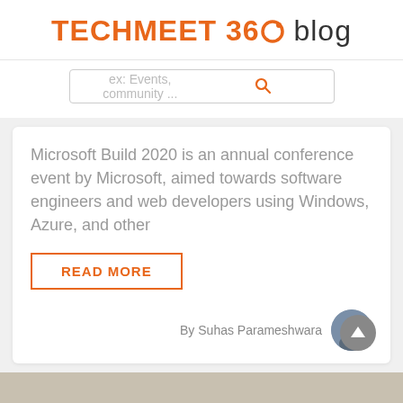TECHMEET 360 blog
ex: Events, community ...
Microsoft Build 2020 is an annual conference event by Microsoft, aimed towards software engineers and web developers using Windows, Azure, and other
READ MORE
By Suhas Parameshwara
[Figure (photo): Bottom portion of a partially visible image, gray/beige tones]